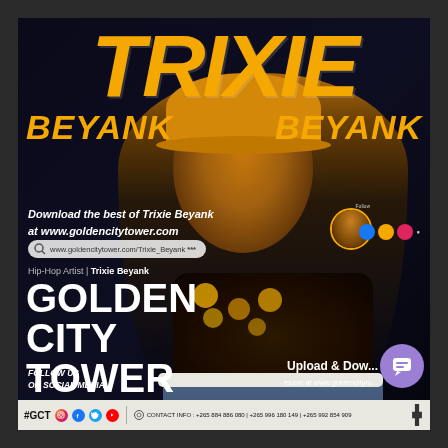[Figure (photo): Promotional flyer for hip-hop artist Trixie Beyank featuring her photo wearing a yellow bucket hat and sunflower print crop top, with large stylized text 'TRIXIE' and 'BEYANK BEYANK' in gold/orange, website download info, Golden City Tower Ent. branding, social media handles, and contact info bar at bottom.]
TRIXIE
BEYANK    BEYANK
Download the best of Trixie Beyank at www.goldencitytower.com
www.goldencitytower.com/Trixie_Beyank ***
Hip-Hop Artist | Trixie Beyank
GOLDEN CITY TOWER ENT.
FOLLOW US ON SOCIAL MEDIA
Upload & Download music at www.goldencitytower.com
#GCT  CONTACT INFO : +265 884 886 080 | +265 996 180 149 | +265 992 854 909